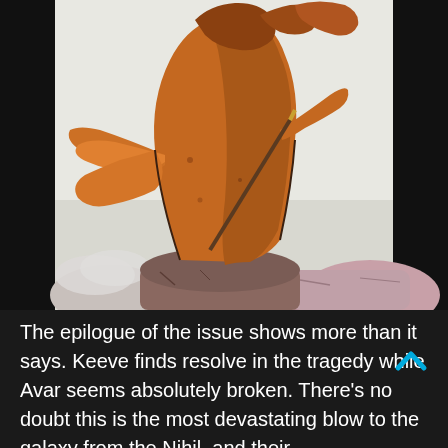[Figure (illustration): Comic book art panel showing a figure in flowing orange/brown robes standing on rocks, viewed from below against a light sky background. The robes are billowing dramatically in the wind.]
The epilogue of the issue shows more than it says. Keeve finds resolve in the tragedy while Avar seems absolutely broken. There's no doubt this is the most devastating blow to the galaxy from the Nihil, and their